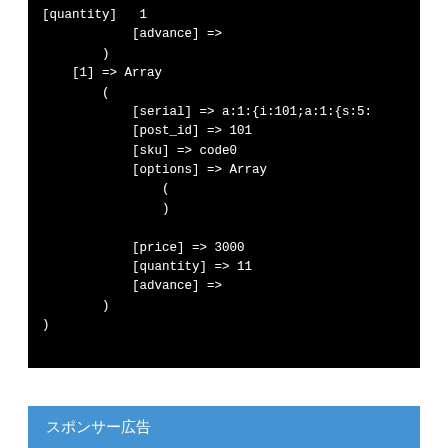[Figure (screenshot): Black background code block showing PHP array dump output with fields: advance, [1] => Array with serial, post_id, sku, options (Array), price, quantity, advance fields]
スポンサー広告